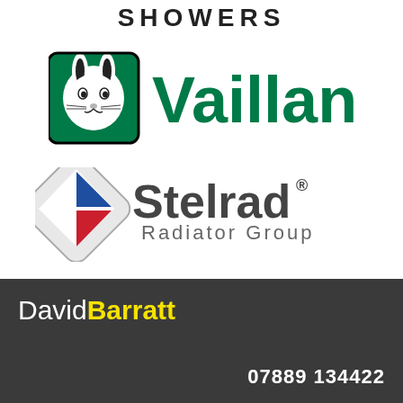SHOWERS
[Figure (logo): Vaillant logo — green square with black rabbit/hare face icon, bold green text 'Vaillant']
[Figure (logo): Stelrad Radiator Group logo — diamond shape with blue and red diagonal bands, dark grey text 'Stelrad' with registered trademark, 'Radiator Group' beneath]
David Barratt
07889 134422